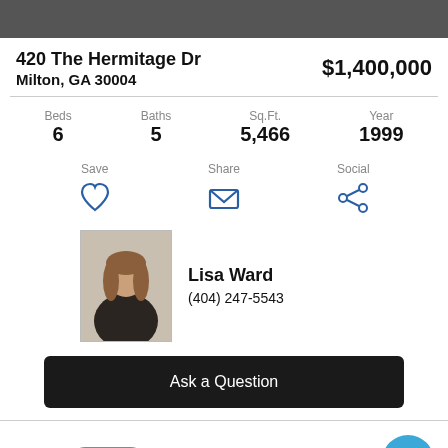420 The Hermitage Dr
Milton, GA 30004
$1,400,000
Beds 6  Baths 5  Sq.Ft. 5,466  Year 1999
Save  Share  Social
Lisa Ward
(404) 247-5543
Ask a Question
Status: Sold